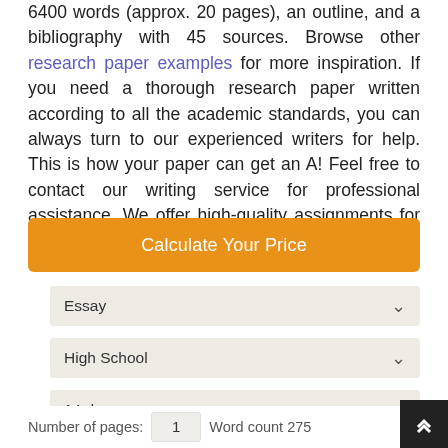6400 words (approx. 20 pages), an outline, and a bibliography with 45 sources. Browse other research paper examples for more inspiration. If you need a thorough research paper written according to all the academic standards, you can always turn to our experienced writers for help. This is how your paper can get an A! Feel free to contact our writing service for professional assistance. We offer high-quality assignments for reasonable rates.
[Figure (other): Orange button labeled 'Calculate Your Price']
[Figure (other): Dropdown selector showing 'Essay']
[Figure (other): Dropdown selector showing 'High School']
[Figure (other): Dropdown selector showing '14 days']
Number of pages: 1  Word count 275